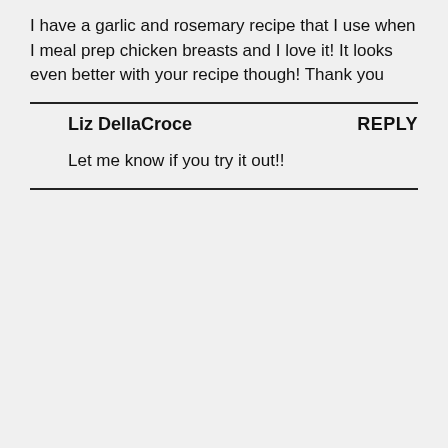I have a garlic and rosemary recipe that I use when I meal prep chicken breasts and I love it! It looks even better with your recipe though! Thank you
Liz DellaCroce
REPLY
Let me know if you try it out!!